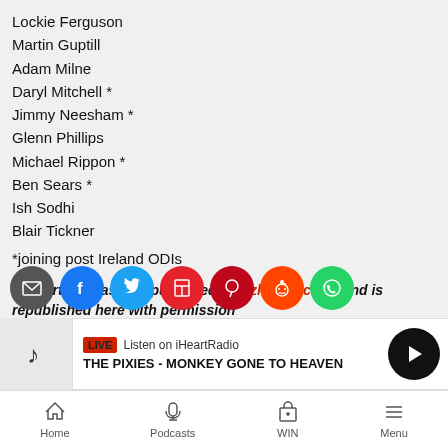Lockie Ferguson
Martin Guptill
Adam Milne
Daryl Mitchell *
Jimmy Neesham *
Glenn Phillips
Michael Rippon *
Ben Sears *
Ish Sodhi
Blair Tickner
*joining post Ireland ODIs
This article was first published on nzherald.co.nz and is republished here with permission
[Figure (infographic): Social sharing buttons: email, Facebook, Twitter, Flipboard, Pinterest, Reddit, WhatsApp]
[Figure (infographic): iHeartRadio live player bar showing THE PIXIES - MONKEY GONE TO HEAVEN]
Home | Podcasts | WIN | Menu